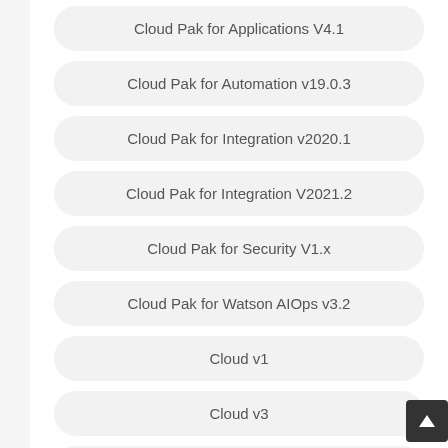Cloud Pak for Applications V4.1
Cloud Pak for Automation v19.0.3
Cloud Pak for Integration v2020.1
Cloud Pak for Integration V2021.2
Cloud Pak for Security V1.x
Cloud Pak for Watson AIOps v3.2
Cloud v1
Cloud v3
Cloud v5